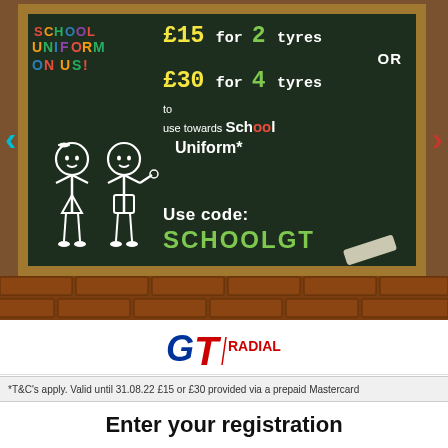[Figure (illustration): GT Radial School Uniform promotion advertisement. A chalkboard showing: £15 for 2 tyres OR £30 for 4 tyres to use towards School Uniform*. Use code: SCHOOLGT. Colorful 'School Uniform On Us!' title top left. Chalk-drawn children illustration bottom left. GT Radial logo below. Navigation arrows on sides.]
*T&C's apply. Valid until 31.08.22 £15 or £30 provided via a prepaid Mastercard
Enter your registration